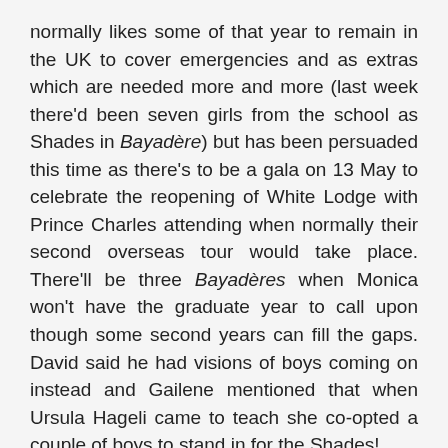normally likes some of that year to remain in the UK to cover emergencies and as extras which are needed more and more (last week there'd been seven girls from the school as Shades in Bayadère) but has been persuaded this time as there's to be a gala on 13 May to celebrate the reopening of White Lodge with Prince Charles attending when normally their second overseas tour would take place. There'll be three Bayadères when Monica won't have the graduate year to call upon though some second years can fill the gaps. David said he had visions of boys coming on instead and Gailene mentioned that when Ursula Hageli came to teach she co-opted a couple of boys to stand in for the Shades!
Programming: Gailene said she's changed some of the Summer programme bringing in different choreography and relocating the Holland Park season to the Linbury. She said her second year at Holland Park there were a lot of injuries and people were